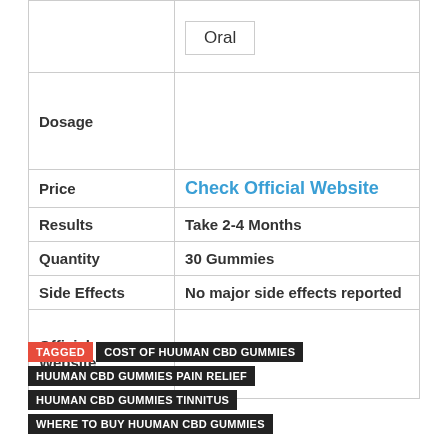|  | Oral |
| Dosage |  |
| Price | Check Official Website |
| Results | Take 2-4 Months |
| Quantity | 30 Gummies |
| Side Effects | No major side effects reported |
| Official Website | Click Here |
TAGGED  COST OF HUUMAN CBD GUMMIES  HUUMAN CBD GUMMIES PAIN RELIEF  HUUMAN CBD GUMMIES TINNITUS  WHERE TO BUY HUUMAN CBD GUMMIES